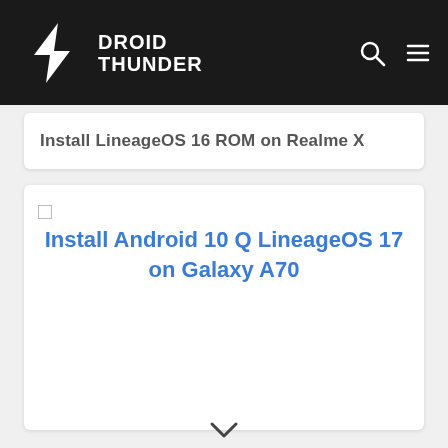DROID THUNDER
Install LineageOS 16 ROM on Realme X
[Figure (screenshot): Article card with broken image placeholder and link text: Install Android 10 Q LineageOS 17 on Galaxy A70]
Install Android 10 Q LineageOS 17 on Galaxy A70